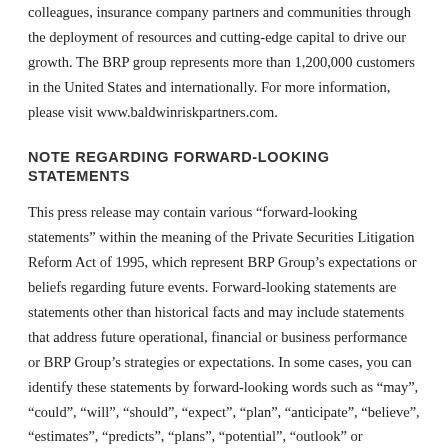colleagues, insurance company partners and communities through the deployment of resources and cutting-edge capital to drive our growth. The BRP group represents more than 1,200,000 customers in the United States and internationally. For more information, please visit www.baldwinriskpartners.com.
NOTE REGARDING FORWARD-LOOKING STATEMENTS
This press release may contain various “forward-looking statements” within the meaning of the Private Securities Litigation Reform Act of 1995, which represent BRP Group’s expectations or beliefs regarding future events. Forward-looking statements are statements other than historical facts and may include statements that address future operational, financial or business performance or BRP Group’s strategies or expectations. In some cases, you can identify these statements by forward-looking words such as “may”, “could”, “will”, “should”, “expect”, “plan”, “anticipate”, “believe”, “estimates”, “predicts”, “plans”, “potential”, “outlook” or “continues”, or the negative form of these terms or